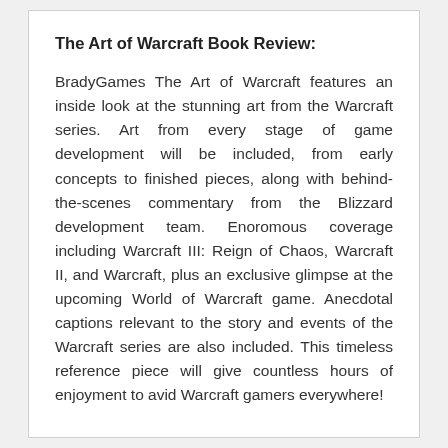The Art of Warcraft Book Review:
BradyGames The Art of Warcraft features an inside look at the stunning art from the Warcraft series. Art from every stage of game development will be included, from early concepts to finished pieces, along with behind-the-scenes commentary from the Blizzard development team. Enoromous coverage including Warcraft III: Reign of Chaos, Warcraft II, and Warcraft, plus an exclusive glimpse at the upcoming World of Warcraft game. Anecdotal captions relevant to the story and events of the Warcraft series are also included. This timeless reference piece will give countless hours of enjoyment to avid Warcraft gamers everywhere!